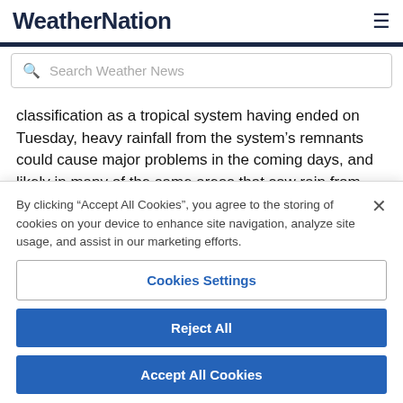WeatherNation
Search Weather News
classification as a tropical system having ended on Tuesday, heavy rainfall from the system’s remnants could cause major problems in the coming days, and likely in many of the same areas that saw rain from Calvin’s initial soaking Monday and Tuesday.
By clicking “Accept All Cookies”, you agree to the storing of cookies on your device to enhance site navigation, analyze site usage, and assist in our marketing efforts.
Cookies Settings
Reject All
Accept All Cookies